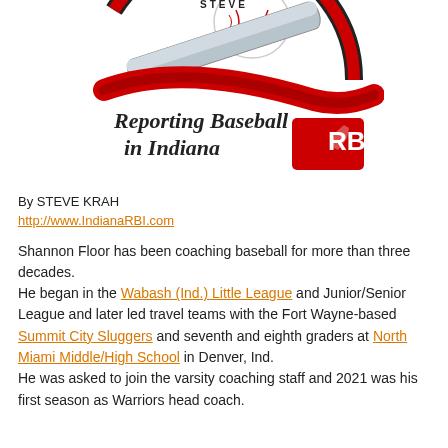[Figure (logo): Reporting Baseball in Indiana RBI logo with baseball bat and baseball graphic]
By STEVE KRAH
http://www.IndianaRBI.com
Shannon Floor has been coaching baseball for more than three decades.
He began in the Wabash (Ind.) Little League and Junior/Senior League and later led travel teams with the Fort Wayne-based Summit City Sluggers and seventh and eighth graders at North Miami Middle/High School in Denver, Ind.
He was asked to join the varsity coaching staff and 2021 was his first season as Warriors head coach.